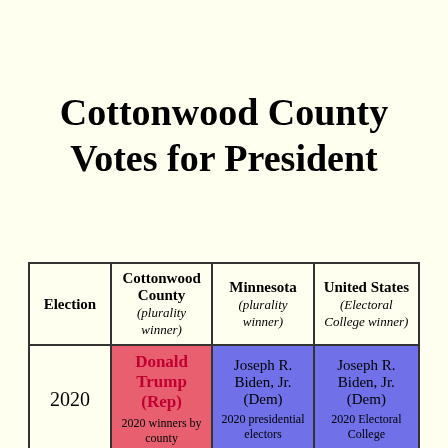Cottonwood County Votes for President
| Election | Cottonwood County (plurality winner) | Minnesota (plurality winner) | United States (Electoral College winner) |
| --- | --- | --- | --- |
| 2020 | Donald Trump (Rep)
2020 winners by county | Joseph R. Biden, Jr. (Dem)
2020 presidential electors | Joseph R. Biden, Jr. (Dem)
2020 Electoral College |
|  | Hillary |  | Donald |